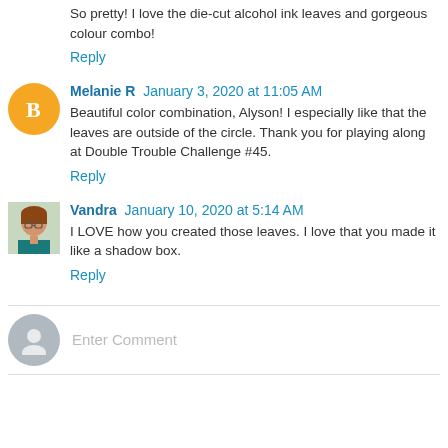So pretty! I love the die-cut alcohol ink leaves and gorgeous colour combo!
Reply
Melanie R  January 3, 2020 at 11:05 AM
Beautiful color combination, Alyson! I especially like that the leaves are outside of the circle. Thank you for playing along at Double Trouble Challenge #45.
Reply
Vandra  January 10, 2020 at 5:14 AM
I LOVE how you created those leaves. I love that you made it like a shadow box.
Reply
Enter Comment